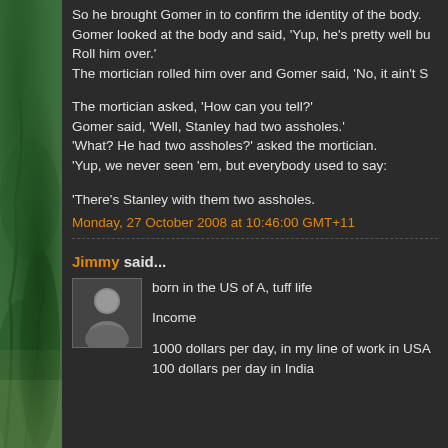So he brought Gomer in to confirm the identity of the body. Gomer looked at the body and said, 'Yup, he's pretty well bu Roll him over.' The mortician rolled him over and Gomer said, 'No, it ain't S
The mortician asked, 'How can you tell?' Gomer said, 'Well, Stanley had two assholes.' 'What? He had two assholes?' asked the mortician. 'Yup, we never seen 'em, but everybody used to say: 'There's Stanley with them two assholes.
Monday, 27 October 2008 at 10:46:00 GMT+11
Jimmy said...
[Figure (photo): Small grayscale avatar photo of a person]
born in the US of A, tuff life

Income

1000 dollars per day, in my line of work in USA
100 dollars per day in India